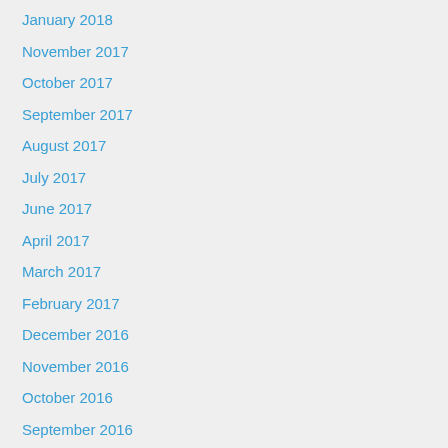January 2018
November 2017
October 2017
September 2017
August 2017
July 2017
June 2017
April 2017
March 2017
February 2017
December 2016
November 2016
October 2016
September 2016
August 2016